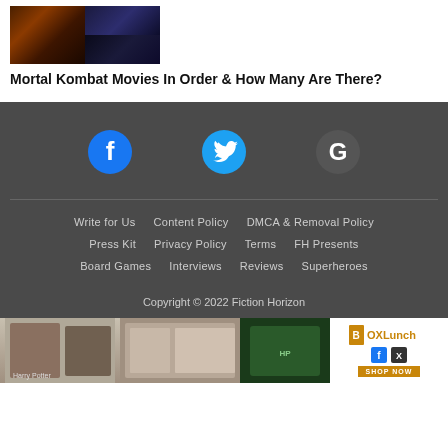[Figure (photo): Mortal Kombat movie collage thumbnail with text ORTAL KOMBAT at bottom]
Mortal Kombat Movies In Order & How Many Are There?
[Figure (other): Social media icons: Facebook (blue circle with f), Twitter (blue bird), Google (white G on dark background)]
Write for Us   Content Policy   DMCA & Removal Policy   Press Kit   Privacy Policy   Terms   FH Presents   Board Games   Interviews   Reviews   Superheroes   Copyright © 2022 Fiction Horizon
[Figure (photo): Advertisement banner for BoxLunch shop with Harry Potter merchandise images]